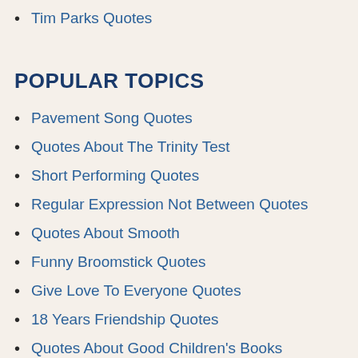Tim Parks Quotes
POPULAR TOPICS
Pavement Song Quotes
Quotes About The Trinity Test
Short Performing Quotes
Regular Expression Not Between Quotes
Quotes About Smooth
Funny Broomstick Quotes
Give Love To Everyone Quotes
18 Years Friendship Quotes
Quotes About Good Children's Books